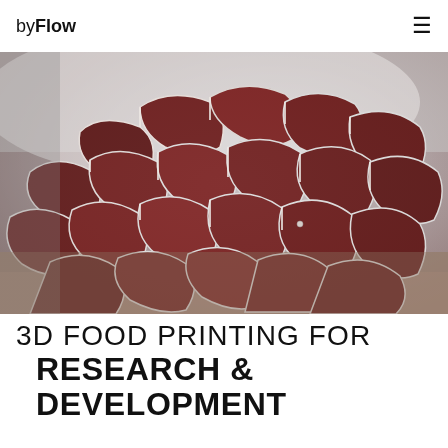byFlow ≡
[Figure (photo): Close-up photograph of a 3D food printed structure made of dark red/chocolate material arranged in an intricate lattice or honeycomb-like pattern on a light surface, shot with shallow depth of field]
3D FOOD PRINTING FOR RESEARCH & DEVELOPMENT